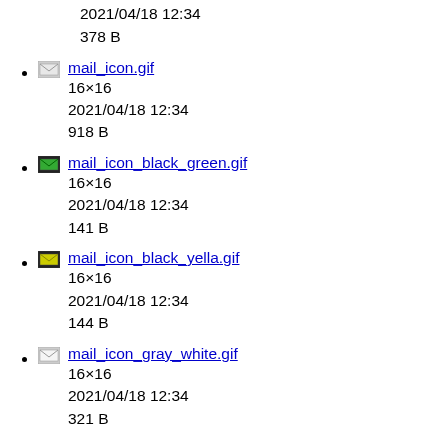2021/04/18 12:34
378 B
mail_icon.gif
16×16
2021/04/18 12:34
918 B
mail_icon_black_green.gif
16×16
2021/04/18 12:34
141 B
mail_icon_black_yella.gif
16×16
2021/04/18 12:34
144 B
mail_icon_gray_white.gif
16×16
2021/04/18 12:34
321 B